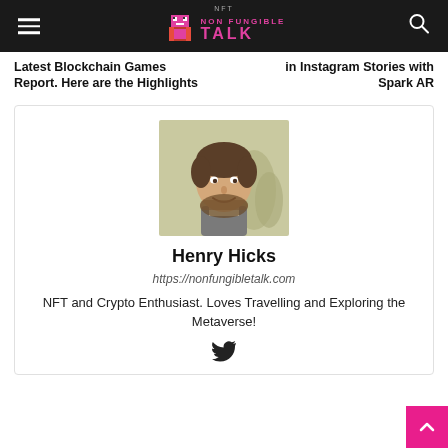Non Fungible Talk
Latest Blockchain Games Report. Here are the Highlights
in Instagram Stories with Spark AR
[Figure (photo): Headshot photo of Henry Hicks, a man with curly brown hair and beard, smiling, outdoors with blurred background]
Henry Hicks
https://nonfungibletalk.com
NFT and Crypto Enthusiast. Loves Travelling and Exploring the Metaverse!
[Figure (logo): Twitter bird icon]